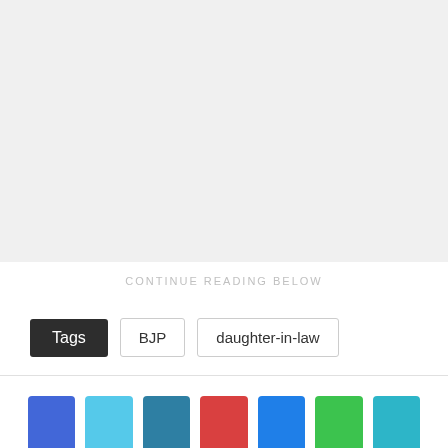[Figure (other): Gray placeholder area for image or advertisement content]
CONTINUE READING BELOW
Tags  BJP  daughter-in-law
[Figure (infographic): Row of seven colored social media share icon buttons: blue (Facebook), light blue (Twitter), teal (LinkedIn), red (Google+), blue (Facebook), green (WhatsApp), teal]